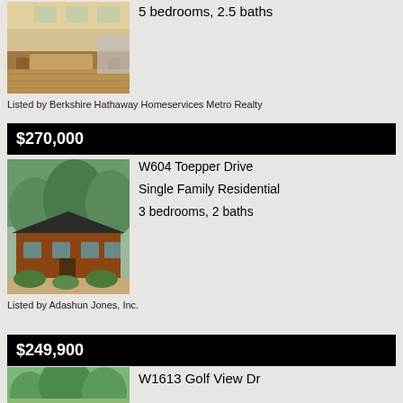[Figure (photo): Kitchen interior with wooden table and chairs, white cabinets, hardwood floor]
5 bedrooms, 2.5 baths
Listed by Berkshire Hathaway Homeservices Metro Realty
$270,000
[Figure (photo): Single-story brick ranch house with green trees in background]
W604 Toepper Drive
Single Family Residential
3 bedrooms, 2 baths
Listed by Adashun Jones, Inc.
$249,900
[Figure (photo): House with lush green trees surrounding it]
W1613 Golf View Dr